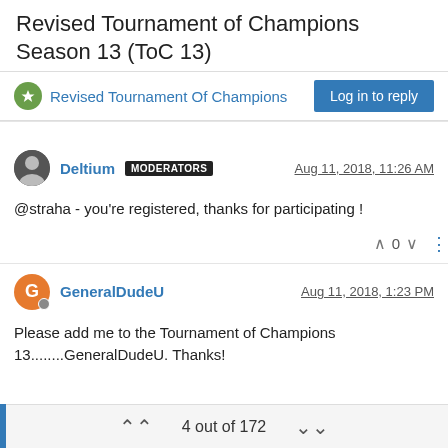Revised Tournament of Champions Season 13 (ToC 13)
Revised Tournament Of Champions
Log in to reply
Deltium MODERATORS Aug 11, 2018, 11:26 AM
@straha - you're registered, thanks for participating !
GeneralDudeU Aug 11, 2018, 1:23 PM
Please add me to the Tournament of Champions 13........GeneralDudeU. Thanks!
4 out of 172